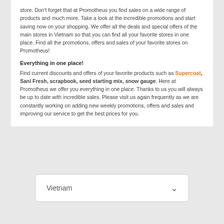store. Don't forget that at Promotheus you find sales on a wide range of products and much more. Take a look at the incredible promotions and start saving now on your shopping. We offer all the deals and special offers of the main stores in Vietnam so that you can find all your favorite stores in one place. Find all the promotions, offers and sales of your favorite stores on Promotheus!
Everything in one place!
Find current discounts and offers of your favorite products such as Supercoat, Sani Fresh, scrapbook, seed starting mix, snow gauge. Here at Promotheus we offer you everything in one place. Thanks to us you will always be up to date with incredible sales. Please visit us again frequently as we are constantly working on adding new weekly promotions, offers and sales and improving our service to get the best prices for you.
Vietnam